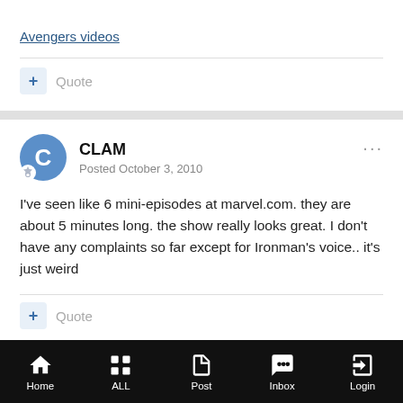Avengers videos
Quote
CLAM
Posted October 3, 2010
I've seen like 6 mini-episodes at marvel.com. they are about 5 minutes long. the show really looks great. I don't have any complaints so far except for Ironman's voice.. it's just weird
Quote
Home   ALL   Post   Inbox   Login